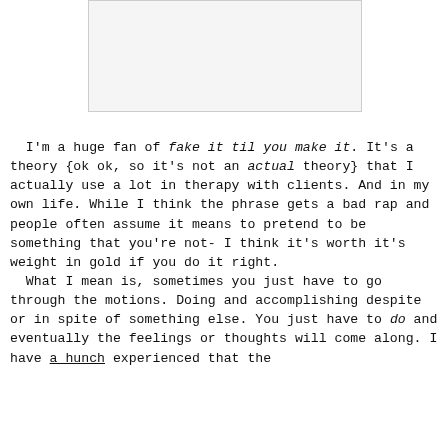[Figure (other): Blank/white image placeholder box]
I'm a huge fan of fake it til you make it. It's a theory {ok ok, so it's not an actual theory} that I actually use a lot in therapy with clients. And in my own life. While I think the phrase gets a bad rap and people often assume it means to pretend to be something that you're not- I think it's worth it's weight in gold if you do it right.
  What I mean is, sometimes you just have to go through the motions. Doing and accomplishing despite or in spite of something else. You just have to do and eventually the feelings or thoughts will come along. I have a hunch experienced that the